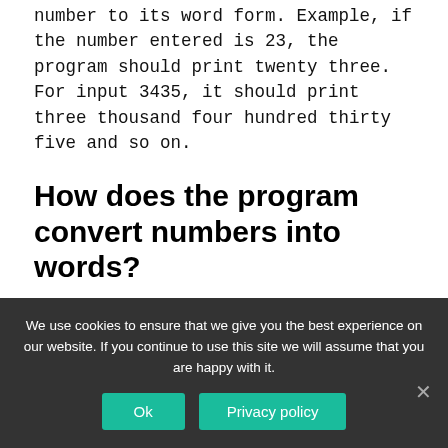number to its word form. Example, if the number entered is 23, the program should print twenty three. For input 3435, it should print three thousand four hundred thirty five and so on.
How does the program convert numbers into words?
The program converts the numbers into
We use cookies to ensure that we give you the best experience on our website. If you continue to use this site we will assume that you are happy with it.